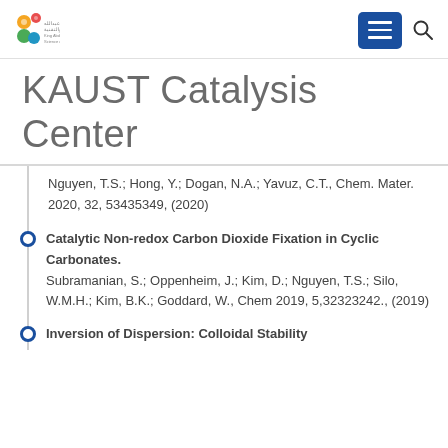[Figure (logo): King Abdullah University of Science and Technology (KAUST) logo with colorful circular icons and Arabic/English text]
KAUST Catalysis Center
Nguyen, T.S.; Hong, Y.; Dogan, N.A.; Yavuz, C.T., Chem. Mater. 2020, 32, 53435349, (2020)
Catalytic Non-redox Carbon Dioxide Fixation in Cyclic Carbonates. Subramanian, S.; Oppenheim, J.; Kim, D.; Nguyen, T.S.; Silo, W.M.H.; Kim, B.K.; Goddard, W., Chem 2019, 5,32323242., (2019)
Inversion of Dispersion: Colloidal Stability